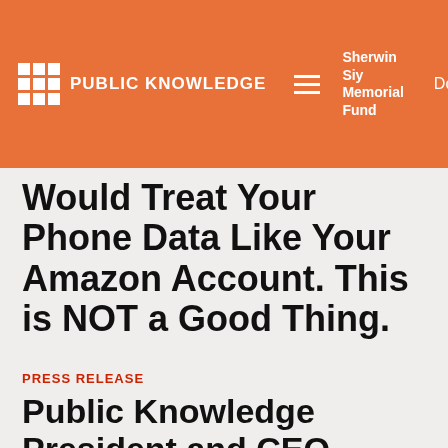PUBLIC KNOWLEDGE | Sherwin Siy Memorial Fund | Donate
Would Treat Your Phone Data Like Your Amazon Account. This is NOT a Good Thing.
PRESS RELEASE
Public Knowledge President and CEO Chris Lewis To Testify Before Senate